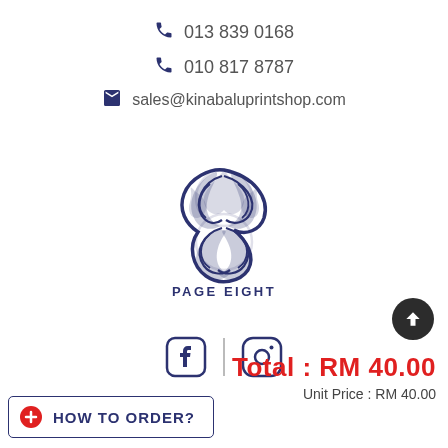📞 013 839 0168
📞 010 817 8787
✉ sales@kinabaluprintshop.com
[Figure (logo): Page Eight logo — stylized swirling '8' figure in dark navy blue with text 'PAGE EIGHT' below]
[Figure (infographic): Facebook and Instagram social media icons separated by a vertical bar]
Total : RM 40.00
Unit Price : RM 40.00
HOW TO ORDER?